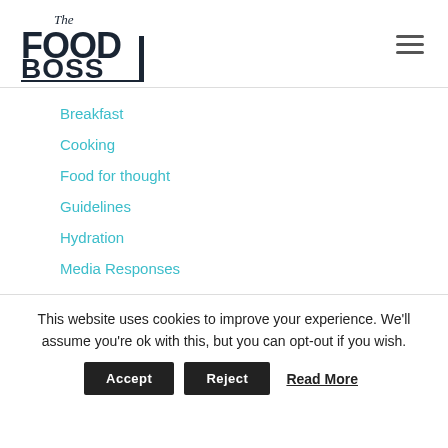[Figure (logo): The Food Boss logo — stylized text with 'The' in script and 'FOOD BOSS' in bold block letters]
Breakfast
Cooking
Food for thought
Guidelines
Hydration
Media Responses
This website uses cookies to improve your experience. We'll assume you're ok with this, but you can opt-out if you wish.
Accept | Reject | Read More